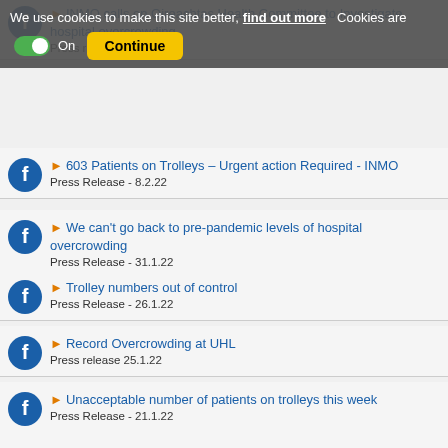INMO calls on Oireachtas Health Committee to Investigate hospital overcrowding
Press release 10.2.22
We use cookies to make this site better, find out more  Cookies are On  Continue
603 Patients on Trolleys – Urgent action Required - INMO
Press Release - 8.2.22
We can't go back to pre-pandemic levels of hospital overcrowding
Press Release - 31.1.22
Trolley numbers out of control
Press Release - 26.1.22
Record Overcrowding at UHL
Press release 25.1.22
Unacceptable number of patients on trolleys this week
Press Release - 21.1.22
Pandemic Bonus is the right thing to do
Press Release - 19.1.22
Govt must outline impact of updated guidance on health service – INMO
Press Release - 12.01.22
Recommendation to restore pre-2013 working hours welcomed by INMO